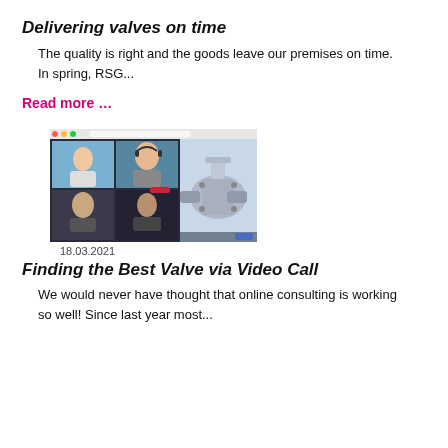Delivering valves on time
The quality is right and the goods leave our premises on time. In spring, RSG...
Read more …
[Figure (screenshot): Screenshot of a video call showing multiple participants alongside a 3D render of an industrial valve component]
18.03.2021
Finding the Best Valve via Video Call
We would never have thought that online consulting is working so well! Since last year most...